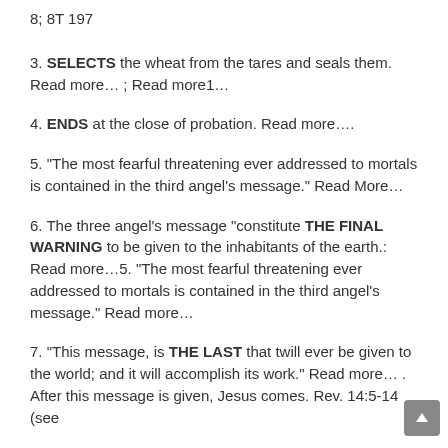8; 8T 197
3. SELECTS the wheat from the tares and seals them. Read more… ; Read more1…
4. ENDS at the close of probation. Read more….
5. “The most fearful threatening ever addressed to mortals is contained in the third angel’s message.” Read More…
6. The three angel’s message “constitute THE FINAL WARNING to be given to the inhabitants of the earth.: Read more…5. “The most fearful threatening ever addressed to mortals is contained in the third angel’s message.” Read more…
7. “This message, is THE LAST that twill ever be given to the world; and it will accomplish its work.” Read more… . After this message is given, Jesus comes. Rev. 14:5-14 (see